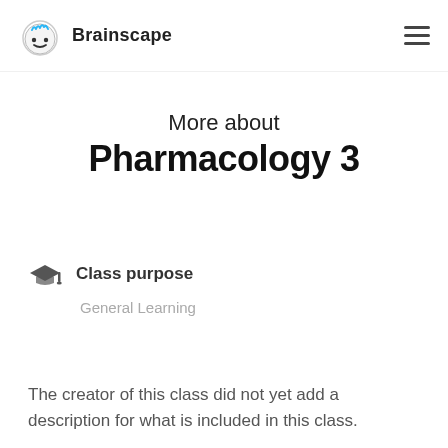Brainscape
More about
Pharmacology 3
Class purpose
General Learning
The creator of this class did not yet add a description for what is included in this class.